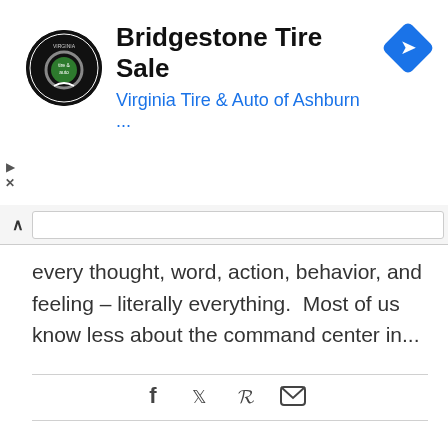[Figure (screenshot): Advertisement banner for Bridgestone Tire Sale at Virginia Tire & Auto of Ashburn, with logo and blue arrow icon]
every thought, word, action, behavior, and feeling – literally everything. Most of us know less about the command center in...
[Figure (infographic): Social sharing icons row: Facebook (f), Twitter (bird), Pinterest (P), Email (envelope)]